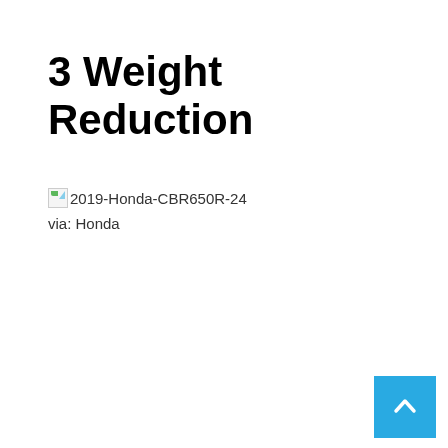3 Weight Reduction
[Figure (other): Broken image placeholder with alt text '2019-Honda-CBR650R-24']
via: Honda